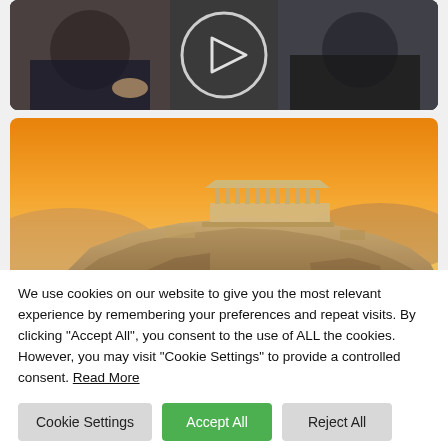[Figure (photo): Video thumbnail strip showing people in a meeting or training session with a play button overlay]
[Figure (photo): Photograph of the Acropolis of Athens at sunset/golden hour, showing the Parthenon on the hilltop with rocky cliffs below]
Celebrating our first Greek training
We use cookies on our website to give you the most relevant experience by remembering your preferences and repeat visits. By clicking "Accept All", you consent to the use of ALL the cookies. However, you may visit "Cookie Settings" to provide a controlled consent. Read More